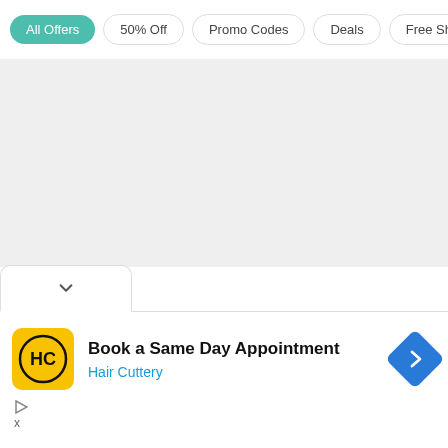All Offers
50% Off
Promo Codes
Deals
Free Shipping
[Figure (screenshot): Gray empty content area placeholder]
[Figure (screenshot): Dropdown tab with chevron/down arrow]
[Figure (infographic): Advertisement banner for Hair Cuttery with logo, text 'Book a Same Day Appointment', and navigation arrow icon]